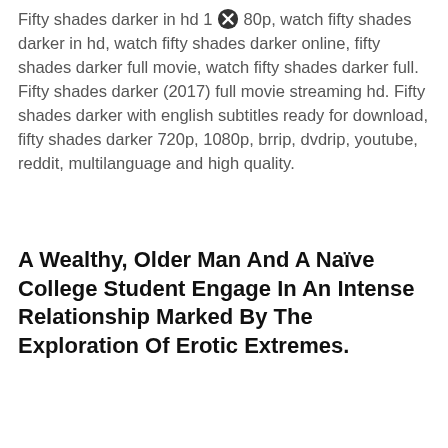Fifty shades darker in hd 1080p, watch fifty shades darker in hd, watch fifty shades darker online, fifty shades darker full movie, watch fifty shades darker full. Fifty shades darker (2017) full movie streaming hd. Fifty shades darker with english subtitles ready for download, fifty shades darker 720p, 1080p, brrip, dvdrip, youtube, reddit, multilanguage and high quality.
A Wealthy, Older Man And A Naïve College Student Engage In An Intense Relationship Marked By The Exploration Of Erotic Extremes.
Imdb rating 4.6 73,622 votes. As the two begin to build trust and find stability, shadowy figures from christian's past start to circle the couple, determined to destroy their hopes for a future together. Fifty shades darker full movie free watch online